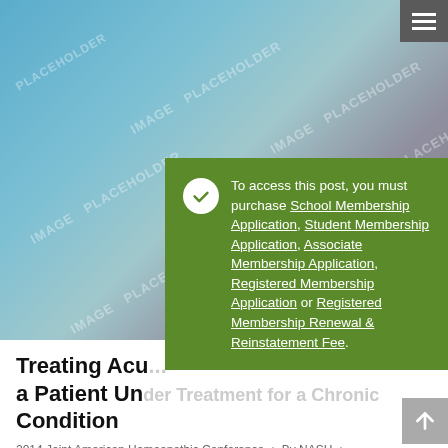[Figure (photo): Blue and grey gradient image placeholder with watermark text 'IMAGE PLACEHOLDER' repeated across the image area]
To access this post, you must purchase School Membership Application, Student Membership Application, Associate Membership Application, Registered Membership Application or Registered Membership Renewal & Reinstatement Fee.
Treating Acu... a Patient Under Treatment for a Chronic Condition
2014 Joint American Homeopathic Conference • By NASH • March 7, 2017